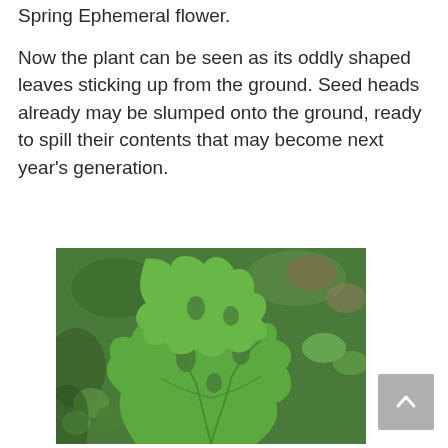Spring Ephemeral flower.
Now the plant can be seen as its oddly shaped leaves sticking up from the ground. Seed heads already may be slumped onto the ground, ready to spill their contents that may become next year's generation.
[Figure (photo): Close-up photograph of oddly shaped green leaves with distinctive lobed and notched edges, typical of a Spring Ephemeral plant, set against a background of other foliage.]